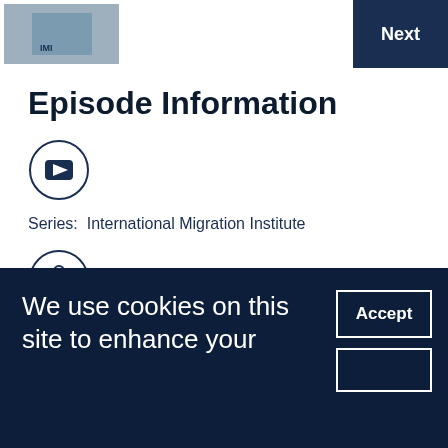Next
Episode Information
[Figure (logo): YouTube play button icon in a circle]
Series:  International Migration Institute
[Figure (illustration): People/group icon in a circle]
People:  Rainer Bauböck
[Figure (illustration): Right arrow icon in a circle]
We use cookies on this site to enhance your
Accept